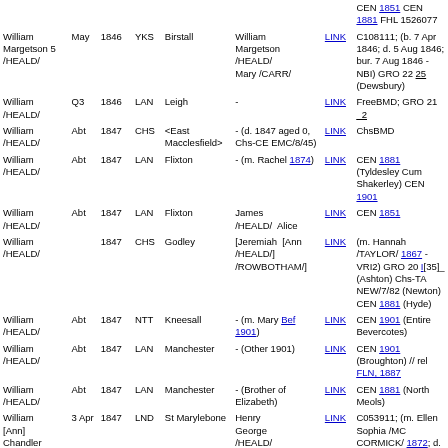| Name | Q | Year | Cty | Place | Parents | Link | Notes |
| --- | --- | --- | --- | --- | --- | --- | --- |
| William Margetson /HEALD/ | 5 May | 1846 | YKS | Birstall | William Margetson /HEALD/ Mary /CARR/ | LINK | C108111; (b. 7 Apr 1846; d. 5 Aug 1846; bur. 7 Aug 1846 - NBI) GRO 22 25 (Dewsbury) |
| William /HEALD/ | Q3 | 1846 | LAN | Leigh | - | LINK | FreeBMD; GRO 21 _2 |
| William /HEALD/ | Abt | 1847 | CHS | <East Macclesfield> | - (d. 1847 aged 0, Chs-CE EMC/8/45) | LINK | ChsBMD |
| William /HEALD/ | Abt | 1847 | LAN | Flixton | - (m. Rachel 1874) | LINK | CEN 1881 (Tyldesley Cum Shakerley) CEN 1901 |
| William /HEALD/ | Abt | 1847 | LAN | Flixton | James /HEALD/ Alice | LINK | CEN 1851 |
| William /HEALD/ |  | 1847 | CHS | Godley | [Jeremiah /HEALD/] [Ann /ROWBOTHAM/] | LINK | (m. Hannah /TAYLOR/ 1867 - VRI2) GRO 20 I[35]_ (Ashton) Chs-TA NEW/7/82 (Newton) CEN 1881 (Hyde) |
| William /HEALD/ | Abt | 1847 | NTT | Kneesall | - (m. Mary Bef 1901) | LINK | CEN 1901 (Entire Bevercotes) |
| William /HEALD/ | Abt | 1847 | LAN | Manchester | - (Other 1901) | LINK | CEN 1901 (Broughton) // rel FLN, 1887 |
| William /HEALD/ | Abt | 1847 | LAN | Manchester | - (Brother of Elizabeth) | LINK | CEN 1881 (North Meols) |
| William [Ann] Chandler /HEALD/ | 3 Apr | 1847 | LND | St Marylebone | Henry George /HEALD/ Sarah Wilkins /STEVENS/ | LINK | C053911; (m. Ellen Sophia /MC CORMICK/ 1872; d. Q4 1894, GRO 1b 353 (Strand, LND)) CEN 1851 (Burnley, LAN) CEN 1881 (Camberwell, SRY) // m. Salisbury WIL, |